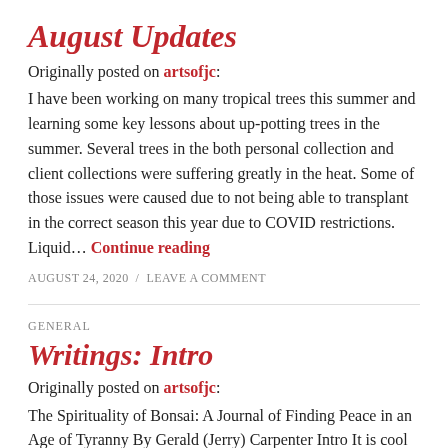August Updates
Originally posted on artsofjc:
I have been working on many tropical trees this summer and learning some key lessons about up-potting trees in the summer. Several trees in the both personal collection and client collections were suffering greatly in the heat. Some of those issues were caused due to not being able to transplant in the correct season this year due to COVID restrictions. Liquid... Continue reading
AUGUST 24, 2020 / LEAVE A COMMENT
GENERAL
Writings: Intro
Originally posted on artsofjc:
The Spirituality of Bonsai: A Journal of Finding Peace in an Age of Tyranny By Gerald (Jerry) Carpenter Intro It is cool